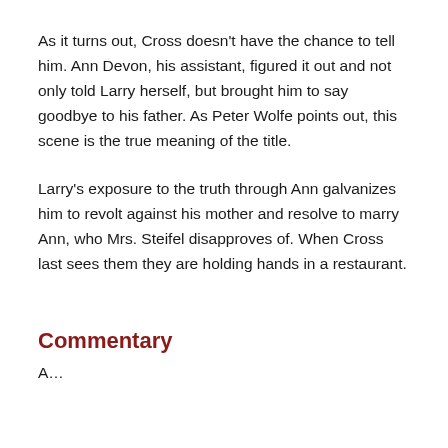As it turns out, Cross doesn't have the chance to tell him. Ann Devon, his assistant, figured it out and not only told Larry herself, but brought him to say goodbye to his father. As Peter Wolfe points out, this scene is the true meaning of the title.
Larry's exposure to the truth through Ann galvanizes him to revolt against his mother and resolve to marry Ann, who Mrs. Steifel disapproves of. When Cross last sees them they are holding hands in a restaurant.
Commentary
As…